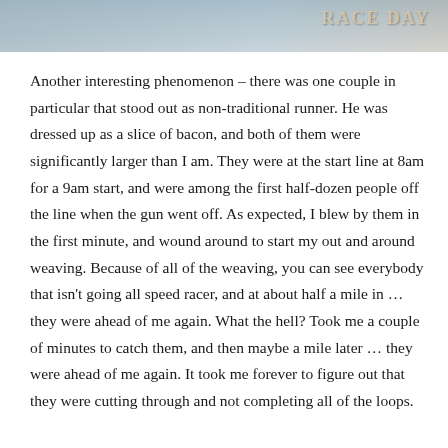[Figure (photo): Partial photo strip at the top of the page showing an outdoor scene, likely a road or race course, with text overlay on the right side.]
Another interesting phenomenon – there was one couple in particular that stood out as non-traditional runner.  He was dressed up as a slice of bacon, and both of them were significantly larger than I am.  They were at the start line at 8am for a 9am start, and were among the first half-dozen people off the line when the gun went off.  As expected, I blew by them in the first minute, and wound around to start my out and around weaving.  Because of all of the weaving, you can see everybody that isn't going all speed racer, and at about half a mile in … they were ahead of me again.  What the hell?  Took me a couple of minutes to catch them, and then maybe a mile later … they were ahead of me again.  It took me forever to figure out that they were cutting through and not completing all of the loops.